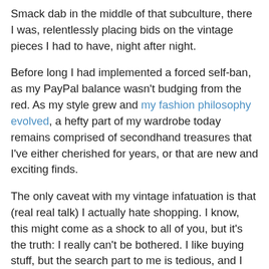Smack dab in the middle of that subculture, there I was, relentlessly placing bids on the vintage pieces I had to have, night after night.
Before long I had implemented a forced self-ban, as my PayPal balance wasn't budging from the red. As my style grew and my fashion philosophy evolved, a hefty part of my wardrobe today remains comprised of secondhand treasures that I've either cherished for years, or that are new and exciting finds.
The only caveat with my vintage infatuation is that (real real talk) I actually hate shopping. I know, this might come as a shock to all of you, but it's the truth: I really can't be bothered. I like buying stuff, but the search part to me is tedious, and I have no patience for it. Doubly so for finding that epic can't-live-without secondhand needle in a haystack. No matter how much I love wearing those kinds of pieces.
Certainly you guys relate to this? That's why I'm obsessed with David Tisdale vintage. Not only is founder Elizabeth the loveliest of humans, but her eye for unearthing the raddest